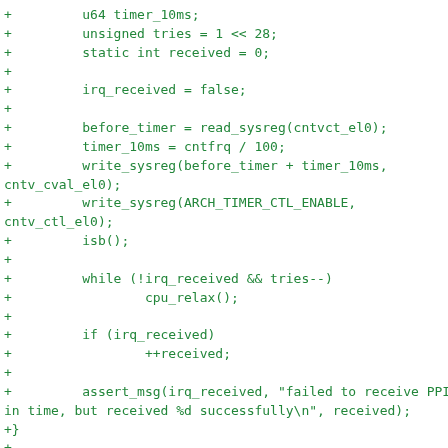[Figure (other): Code diff showing C source additions and a git diff hunk header. Green lines are additions (+), yellow/brown line is a diff hunk (@@ ... @@). Code includes timer setup, IRQ polling, assert, and hvc_exec function.]